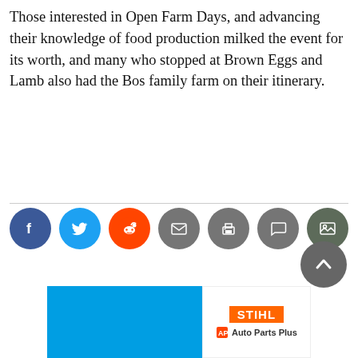Those interested in Open Farm Days, and advancing their knowledge of food production milked the event for its worth, and many who stopped at Brown Eggs and Lamb also had the Bos family farm on their itinerary.
[Figure (other): Social media sharing icons: Facebook (blue), Twitter (light blue), Reddit (orange), Email (grey), Print (grey), Comment (grey), Image/Gallery (dark grey-green)]
[Figure (other): Back to top button — dark grey circle with upward chevron arrow]
[Figure (other): Advertisement banner: left side solid blue rectangle, right side white with STIHL logo in orange and Auto Parts Plus text with icon]